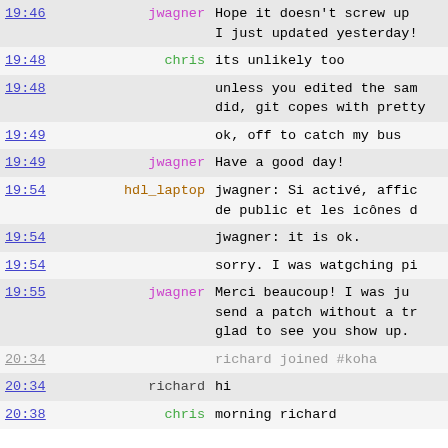| time | nick | message |
| --- | --- | --- |
| 19:46 | jwagner | Hope it doesn't screw up
I just updated yesterday! |
| 19:48 | chris | its unlikely too |
| 19:48 |  | unless you edited the same
did, git copes with pretty |
| 19:49 |  | ok, off to catch my bus |
| 19:49 | jwagner | Have a good day! |
| 19:54 | hdl_laptop | jwagner: Si activé, affic
de public et les icônes d |
| 19:54 |  | jwagner: it is ok. |
| 19:54 |  | sorry. I was watgching pi |
| 19:55 | jwagner | Merci beaucoup!  I was ju
send a patch without a tr
glad to see you show up. |
| 20:34 |  | richard joined #koha |
| 20:34 | richard | hi |
| 20:38 | chris | morning richard |